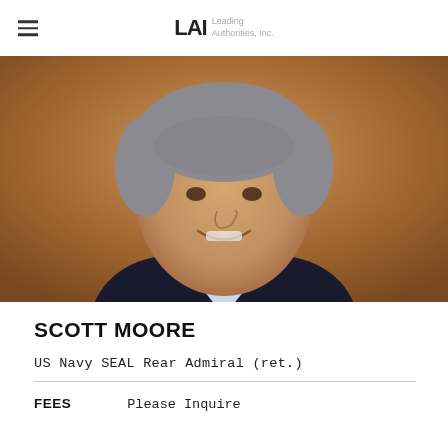LAI Leading Authorities, Inc.
[Figure (photo): Professional headshot of Scott Moore, a middle-aged man with gray hair wearing a dark suit and light blue shirt, smiling against a warm brown background.]
SCOTT MOORE
US Navy SEAL Rear Admiral (ret.)
FEES   Please Inquire